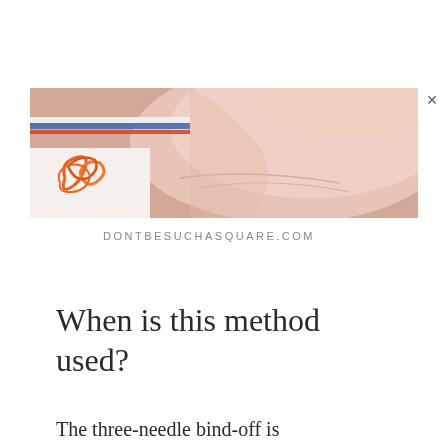[Figure (photo): A close-up photo of a hand palm and wrist area, with orange yarn or knitting thread visible in the lower left corner, on a white fabric background. The image has a watermark 'DONTBESUCHASQUARE.COM' below it.]
DONTBESUCHASQUARE.COM
When is this method used?
The three-needle bind-off is